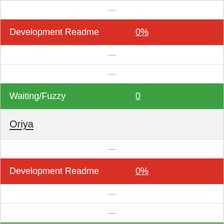| Label | Value |
| --- | --- |
|  | — |
| Development Readme | 0% |
|  | — |
|  | — |
| Waiting/Fuzzy | 0 |
|  |  |
| Oriya |  |
|  | — |
| Development Readme | 0% |
|  | — |
|  | — |
| Waiting/Fuzzy | 0 |
|  |  |
| Ossetic |  |